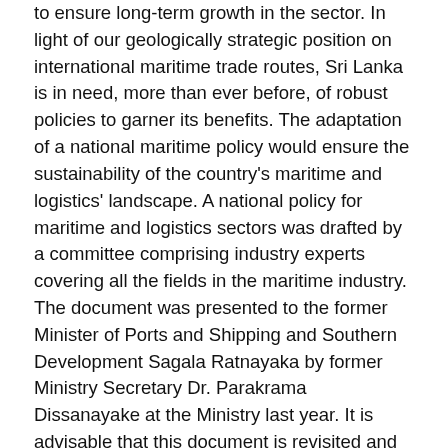to ensure long-term growth in the sector. In light of our geologically strategic position on international maritime trade routes, Sri Lanka is in need, more than ever before, of robust policies to garner its benefits. The adaptation of a national maritime policy would ensure the sustainability of the country's maritime and logistics' landscape. A national policy for maritime and logistics sectors was drafted by a committee comprising industry experts covering all the fields in the maritime industry. The document was presented to the former Minister of Ports and Shipping and Southern Development Sagala Ratnayaka by former Ministry Secretary Dr. Parakrama Dissanayake at the Ministry last year. It is advisable that this document is revisited and implemented, as a lot of effort was put in to develop this well-thought-out road map for the maritime sector.
Conclusion